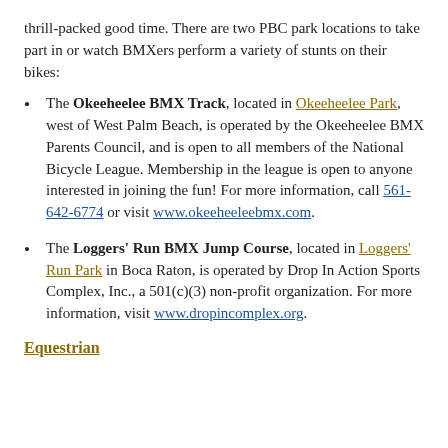thrill-packed good time. There are two PBC park locations to take part in or watch BMXers perform a variety of stunts on their bikes:
The Okeeheelee BMX Track, located in Okeeheelee Park, west of West Palm Beach, is operated by the Okeeheelee BMX Parents Council, and is open to all members of the National Bicycle League. Membership in the league is open to anyone interested in joining the fun! For more information, call 561-642-6774 or visit www.okeeheeleebmx.com.
The Loggers' Run BMX Jump Course, located in Loggers' Run Park in Boca Raton, is operated by Drop In Action Sports Complex, Inc., a 501(c)(3) non-profit organization. For more information, visit www.dropincomplex.org.
Equestrian